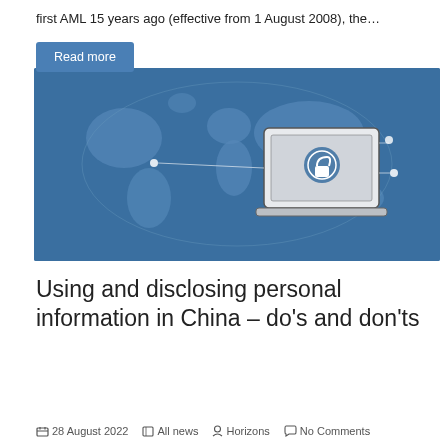first AML 15 years ago (effective from 1 August 2008), the…
Read more
[Figure (illustration): Blue background illustration of a world map with a laptop showing a padlock/security icon in the center, with connecting lines and dots suggesting global connectivity and data security.]
Using and disclosing personal information in China – do's and don'ts
28 August 2022   All news   Horizons   No Comments